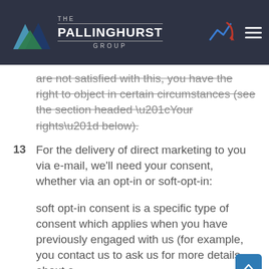THE PALLINGHURST GROUP
are not satisfied with this, you have the right to object in certain circumstances (see the section headed “Your rights” below).
13   For the delivery of direct marketing to you via e-mail, we’ll need your consent, whether via an opt-in or soft-opt-in:
soft opt-in consent is a specific type of consent which applies when you have previously engaged with us (for example, you contact us to ask us for more details about a